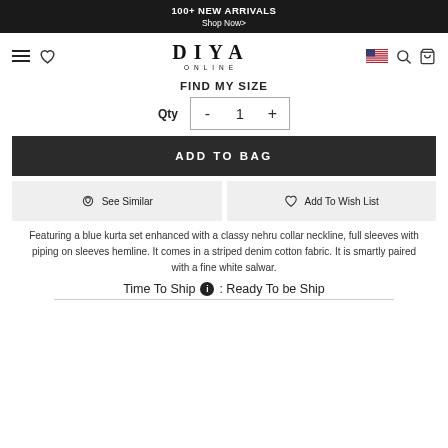100+ NEW ARRIVALS
Shop Now>
[Figure (logo): DIYA ONLINE brand logo with hamburger menu, heart icon, US flag, search and bag icons in navigation bar]
FIND MY SIZE
Qty - 1 +
ADD TO BAG
See Similar
Add To Wish List
Featuring a blue kurta set enhanced with a classy nehru collar neckline, full sleeves with piping on sleeves hemline. It comes in a striped denim cotton fabric. It is smartly paired with a fine white salwar.
Time To Ship i : Ready To be Ship